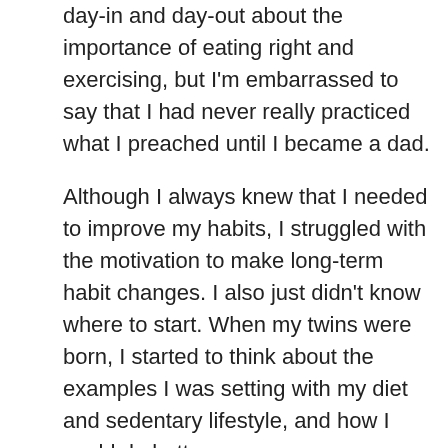day-in and day-out about the importance of eating right and exercising, but I'm embarrassed to say that I had never really practiced what I preached until I became a dad.
Although I always knew that I needed to improve my habits, I struggled with the motivation to make long-term habit changes. I also just didn't know where to start. When my twins were born, I started to think about the examples I was setting with my diet and sedentary lifestyle, and how I could do better.
I read a lot about the science behind habit formation explained in Tiny Habits and Atomic Habits and implemented them into my daily practice. I've learned that starting small is the best way to create lasting effects. I had a long-term goal of daily exercise. So I set a Tiny Habit of first committing to 10 minutes a day even if it was just push ups or a simple walk around the block. It had to be something that was doable with minimal time and minimal barriers. Over time, I've stacked new habits on top of this and